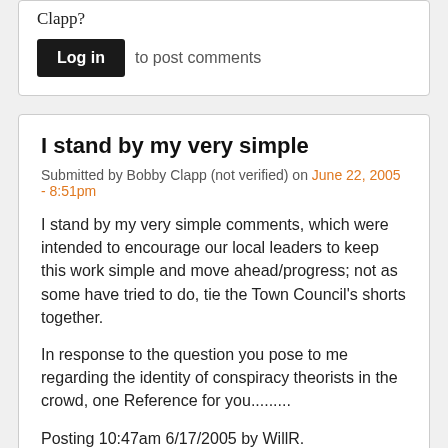Clapp?
Log in to post comments
I stand by my very simple
Submitted by Bobby Clapp (not verified) on June 22, 2005 - 8:51pm
I stand by my very simple comments, which were intended to encourage our local leaders to keep this work simple and move ahead/progress; not as some have tried to do, tie the Town Council's shorts together.
In response to the question you pose to me regarding the identity of conspiracy theorists in the crowd, one Reference for you.........
Posting 10:47am 6/17/2005 by WillR.
My Comment - your posting attempts to imply some sort of pattern of abuse of power as evidenced by this consulting engagement, and you did it through your gratuitous attack on